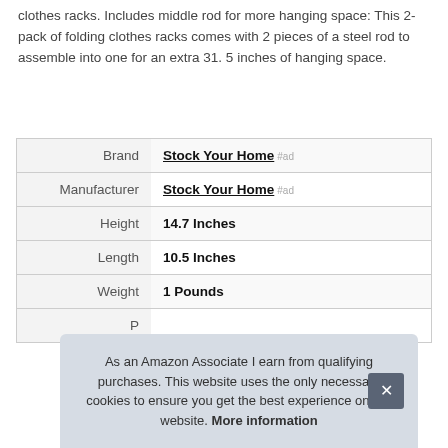clothes racks. Includes middle rod for more hanging space: This 2-pack of folding clothes racks comes with 2 pieces of a steel rod to assemble into one for an extra 31. 5 inches of hanging space.
|  |  |
| --- | --- |
| Brand | Stock Your Home #ad |
| Manufacturer | Stock Your Home #ad |
| Height | 14.7 Inches |
| Length | 10.5 Inches |
| Weight | 1 Pounds |
| P |  |
As an Amazon Associate I earn from qualifying purchases. This website uses the only necessary cookies to ensure you get the best experience on our website. More information